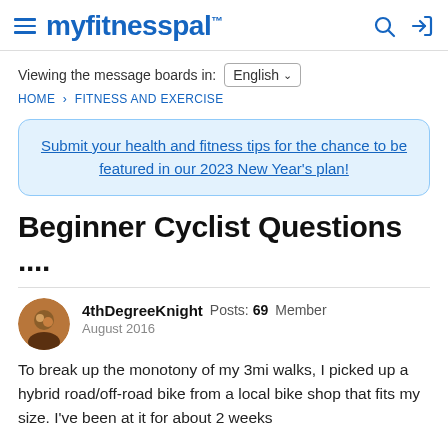myfitnesspal
Viewing the message boards in: English
HOME › FITNESS AND EXERCISE
Submit your health and fitness tips for the chance to be featured in our 2023 New Year's plan!
Beginner Cyclist Questions ....
4thDegreeKnight  Posts: 69  Member  August 2016
To break up the monotony of my 3mi walks, I picked up a hybrid road/off-road bike from a local bike shop that fits my size. I've been at it for about 2 weeks